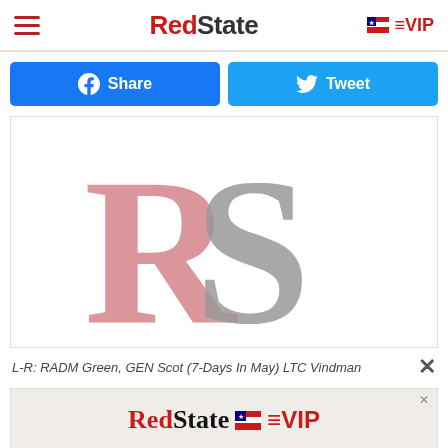RedState | VIP
[Figure (logo): Facebook Share button and Twitter Tweet button, blue social media share buttons]
[Figure (logo): RedState logo placeholder image showing large 'RS' letters in pink and gray serif font]
L-R: RADM Green, GEN Scot (7-Days In May) LTC Vindman
[Figure (logo): RedState VIP advertisement banner with flag icon]